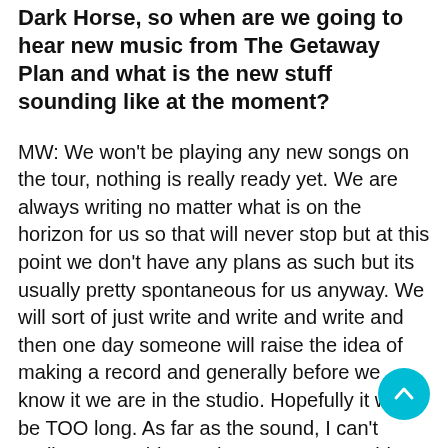Dark Horse, so when are we going to hear new music from The Getaway Plan and what is the new stuff sounding like at the moment?
MW: We won't be playing any new songs on the tour, nothing is really ready yet. We are always writing no matter what is on the horizon for us so that will never stop but at this point we don't have any plans as such but its usually pretty spontaneous for us anyway. We will sort of just write and write and write and then one day someone will raise the idea of making a record and generally before we know it we are in the studio. Hopefully it wont be TOO long. As far as the sound, I can't really say anything at the moment. It's a bit too mental, everything is just in skeleton form.